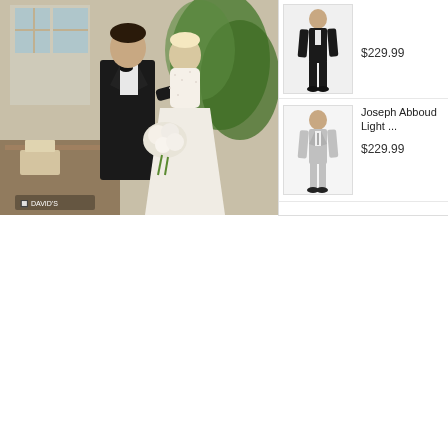[Figure (photo): Wedding photo showing a groom in a black tuxedo and bride in a white lace dress holding white flowers, standing outdoors with tables and greenery in background]
[Figure (photo): Product image of a black suit/tuxedo on a male model]
$229.99
[Figure (photo): Product image of Joseph Abboud Light grey suit on a male model]
Joseph Abboud Light ...
$229.99